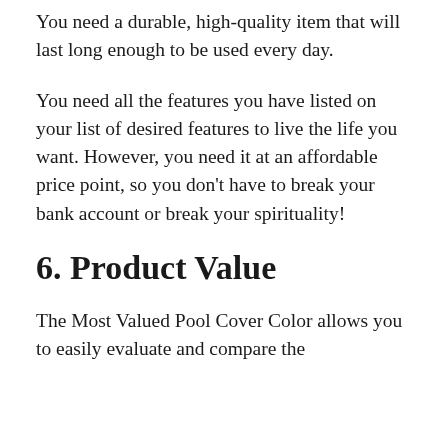You need a durable, high-quality item that will last long enough to be used every day.
You need all the features you have listed on your list of desired features to live the life you want. However, you need it at an affordable price point, so you don't have to break your bank account or break your spirituality!
6. Product Value
The Most Valued Pool Cover Color allows you to easily evaluate and compare the